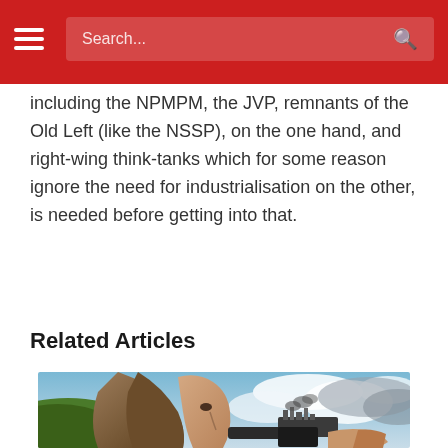Search...
including the NPMPM, the JVP, remnants of the Old Left (like the NSSP), on the one hand, and right-wing think-tanks which for some reason ignore the need for industrialisation on the other, is needed before getting into that.
Related Articles
[Figure (photo): Surreal composite image of a woman's face merged with rocky landscape on the left side, with a gun being pointed toward her and a cityscape emitting smoke in the background sky with clouds.]